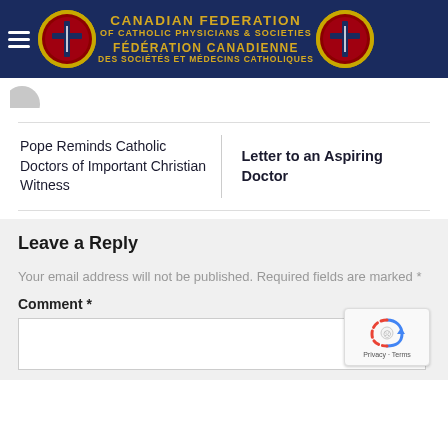[Figure (logo): Canadian Federation of Catholic Physicians & Societies / Fédération Canadienne des Sociétés et Médecins Catholiques header banner with two medallion logos on navy blue background]
Pope Reminds Catholic Doctors of Important Christian Witness
Letter to an Aspiring Doctor
Leave a Reply
Your email address will not be published. Required fields are marked *
Comment *